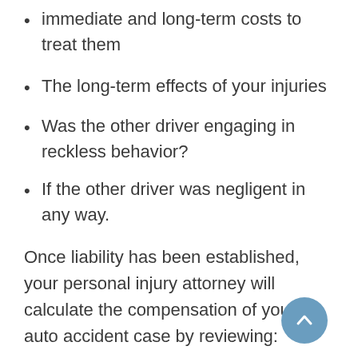immediate and long-term costs to treat them
The long-term effects of your injuries
Was the other driver engaging in reckless behavior?
If the other driver was negligent in any way.
Once liability has been established, your personal injury attorney will calculate the compensation of your auto accident case by reviewing:
Medical bills